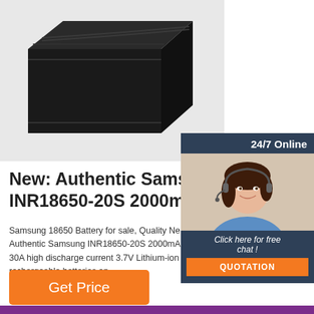[Figure (photo): Black rectangular battery product image on white/light gray background]
[Figure (photo): 24/7 Online chat widget with woman wearing headset, dark blue/slate background, 'Click here for free chat!' text and orange QUOTATION button]
New: Authentic Samsung INR18650-20S 2000mAh (B
Samsung 18650 Battery for sale, Quality Ne Authentic Samsung INR18650-20S 2000mA 30A high discharge current 3.7V Lithium-ion rechargeable batteries on …
[Figure (other): Orange 'Get Price' button]
[Figure (other): Purple bar at bottom of page]